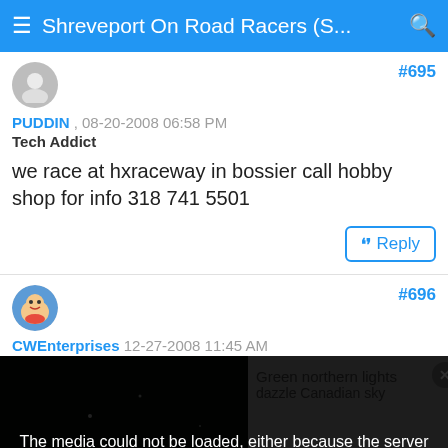Shreveport On Road Racers (S...
#695
PUDDIN , 08-20-2008 06:58 PM
Tech Addict
we race at hxraceway in bossier call hobby shop for info 318 741 5501
Reply
#696
CWEnterprises  12-27-2008 11:45 AM
[Figure (screenshot): Video player showing green northern lights / aurora borealis with an error overlay: 'The media could not be loaded, either because the server or network failed or because the format is not supported.' Right panel shows gray background with text 'Green northern lights dazzle Canadian sky'. An X dismiss button is shown at the bottom.]